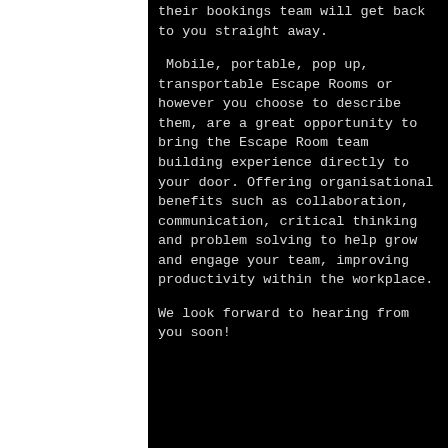their bookings team will get back to you straight away.
Mobile, portable, pop up, transportable Escape Rooms or however you choose to describe them, are a great opportunity to bring the Escape Room team building experience directly to your door. Offering organisational benefits such as collaboration, communication, critical thinking and problem solving to help grow and engage your team, improving productivity within the workplace.
We look forward to hearing from you soon!